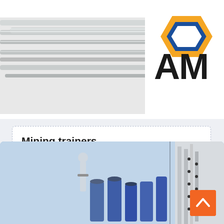[Figure (photo): Industrial equipment (metallic, silver components) at the top of the page, partially cropped]
[Figure (logo): AMC or similar company logo with orange hexagon shape and bold letters 'AM' visible, partially cropped at right edge]
Mining trainers
2021-12-16 · A mining trainer is an NPC that offers miners the opportunity to train and learn recipes. Patch 4.0.3a (2010-11-23): all trainer…
[Figure (illustration): Live Chat speech bubble icon in cyan/light blue]
[Figure (photo): Industrial mining facility with equipment, tanks, and structures against a blue sky, partially cropped at bottom of page]
[Figure (other): Orange back-to-top button with upward chevron arrow, bottom right corner]